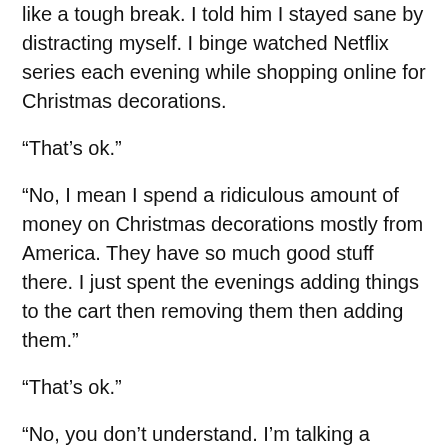like a tough break. I told him I stayed sane by distracting myself. I binge watched Netflix series each evening while shopping online for Christmas decorations.
“That’s ok.”
“No, I mean I spend a ridiculous amount of money on Christmas decorations mostly from America. They have so much good stuff there. I just spent the evenings adding things to the cart then removing them then adding them.”
“That’s ok.”
“No, you don’t understand. I’m talking a RIDICULOUS amount of money.” I didn’t tell him it was probably now over AUD$1000.